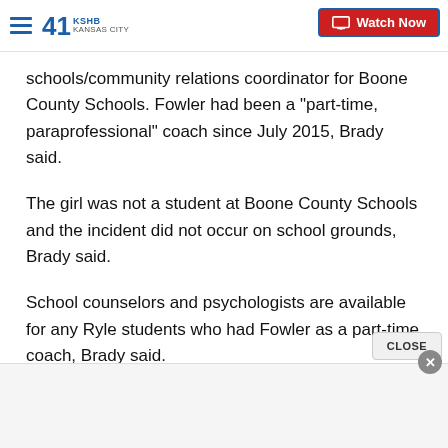41 KSHB KANSAS CITY | Watch Now
schools/community relations coordinator for Boone County Schools. Fowler had been a "part-time, paraprofessional" coach since July 2015, Brady said.
The girl was not a student at Boone County Schools and the incident did not occur on school grounds, Brady said.
School counselors and psychologists are available for any Ryle students who had Fowler as a part-time coach, Brady said.